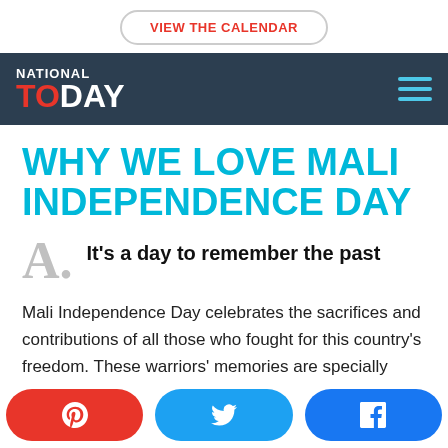VIEW THE CALENDAR
NATIONAL TODAY
WHY WE LOVE MALI INDEPENDENCE DAY
It's a day to remember the past
Mali Independence Day celebrates the sacrifices and contributions of all those who fought for this country's freedom. These warriors' memories are specially
Pinterest | Twitter | Facebook